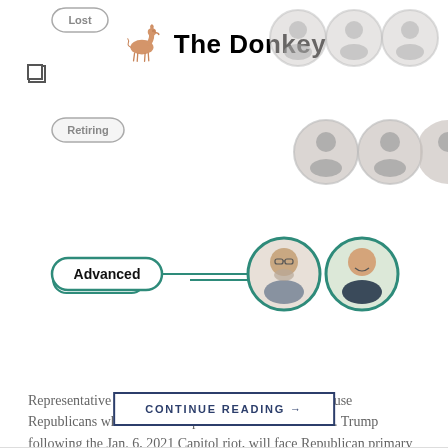The Donkey
[Figure (screenshot): Interactive chart showing Republican primary outcomes with labels Lost, Retiring, Advanced and circular photo portraits of politicians]
Representative Liz Cheney of Wyoming, one of 10 House Republicans who voted to impeach President Donald J. Trump following the Jan. 6, 2021 Capitol riot, will face Republican primary voters on Tuesday. Mr. Trump has made it his vengeful mission to force these Republicans out of Congress. And he largely succeeded: Seven was either defeated [...]
CONTINUE READING →